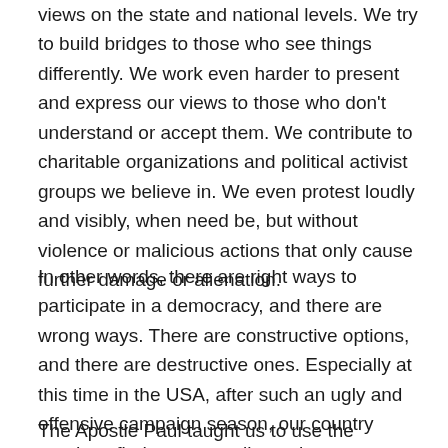views on the state and national levels. We try to build bridges to those who see things differently. We work even harder to present and express our views to those who don't understand or accept them. We contribute to charitable organizations and political activist groups we believe in. We even protest loudly and visibly, when need be, but without violence or malicious actions that only cause further damage or alienation.
In other words, there are right ways to participate in a democracy, and there are wrong ways. There are constructive options, and there are destructive ones. Especially at this time in the USA, after such an ugly and offensive campaign season, our country needs to find ways to pull together.
The Apostle Paul taught us to use the freedoms that we